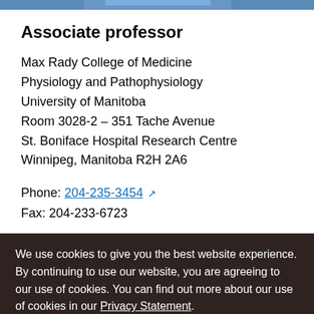[Figure (photo): Partial photo of a person wearing a blue shirt, cropped at the top of the page]
Associate professor
Max Rady College of Medicine
Physiology and Pathophysiology
University of Manitoba
Room 3028-2 – 351 Tache Avenue
St. Boniface Hospital Research Centre
Winnipeg, Manitoba R2H 2A6
Phone: 204-235-3454
Fax: 204-233-6723
We use cookies to give you the best website experience. By continuing to use our website, you are agreeing to our use of cookies. You can find out more about our use of cookies in our Privacy Statement.
OK, I agree